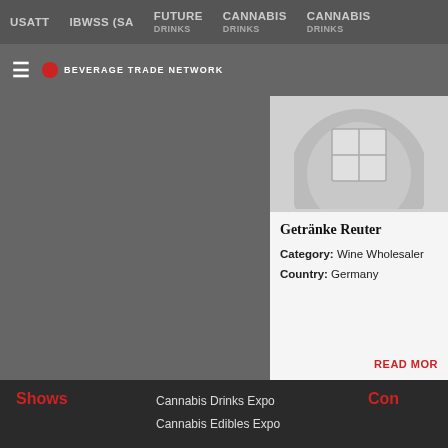USATT   IBWSS (SA   FUTURE DRINKS   CANNABIS DRINKS   CANNABIS DRINKS
[Figure (logo): Beverage Trade Network logo with red dot and white text]
[Figure (illustration): Placeholder card image with grey circles and grid icon for Getranke Reuter]
Getränke Reuter
Category: Wine Wholesaler
Country: Germany
READ MORE
Shows   Cannabis Drinks Expo   Cannabis Edibles Expo   Con